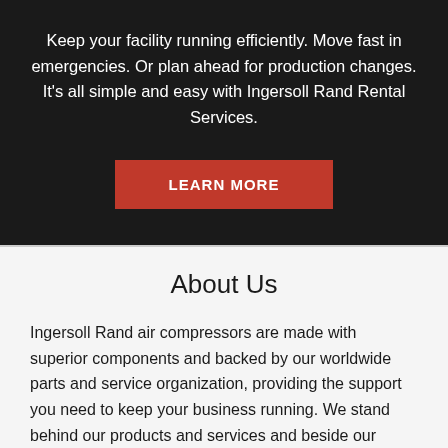Keep your facility running efficiently. Move fast in emergencies. Or plan ahead for production changes. It's all simple and easy with Ingersoll Rand Rental Services.
[Figure (other): Red button with white bold uppercase text reading LEARN MORE]
About Us
Ingersoll Rand air compressors are made with superior components and backed by our worldwide parts and service organization, providing the support you need to keep your business running. We stand behind our products and services and beside our customers during planning, installation, and maintenance.